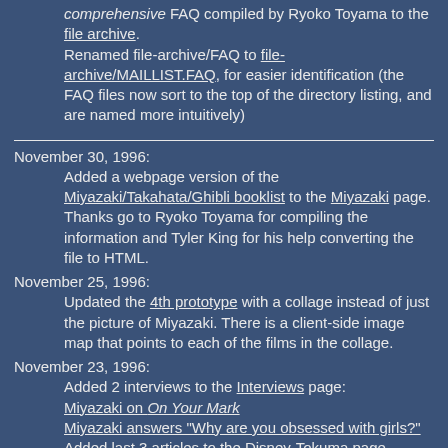comprehensive FAQ compiled by Ryoko Toyama to the file archive. Renamed file-archive/FAQ to file-archive/MAILLIST.FAQ, for easier identification (the FAQ files now sort to the top of the directory listing, and are named more intuitively)
November 30, 1996: Added a webpage version of the Miyazaki/Takahata/Ghibli booklist to the Miyazaki page. Thanks go to Ryoko Toyama for compiling the information and Tyler King for his help converting the file to HTML.
November 25, 1996: Updated the 4th prototype with a collage instead of just the picture of Miyazaki. There is a client-side image map that points to each of the films in the collage.
November 23, 1996: Added 2 interviews to the Interviews page: Miyazaki on On Your Mark Miyazaki answers "Why are you obsessed with girls?" Added last 3 articles to the Disney-Tokuma page.
November 17, 1996: Added 4th prototype of the main webpage after receiving feedback about the 3rd. All of the prototypes